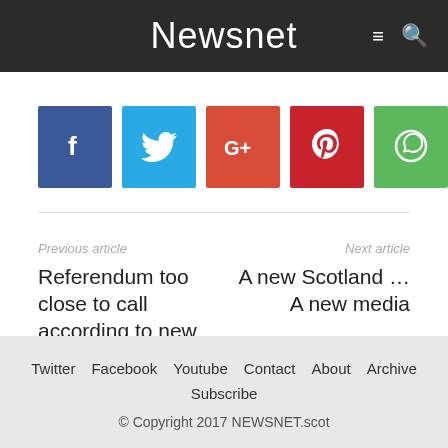Newsnet
[Figure (other): Social sharing buttons: Facebook (blue), Twitter (light blue), Google+ (orange-red), Pinterest (dark red), WhatsApp (green)]
Previous article
Referendum too close to call according to new poll
Next article
A new Scotland … A new media
Twitter   Facebook   Youtube   Contact   About   Archive
Subscribe
© Copyright 2017 NEWSNET.scot